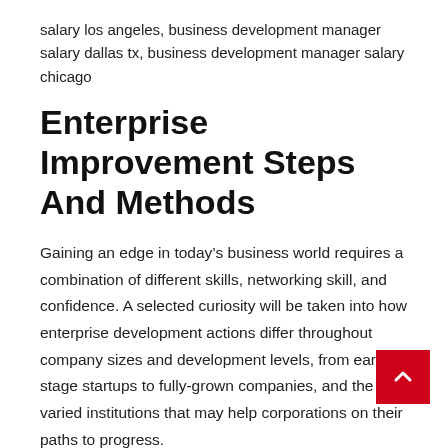salary los angeles, business development manager salary dallas tx, business development manager salary chicago
Enterprise Improvement Steps And Methods
Gaining an edge in today’s business world requires a combination of different skills, networking skill, and confidence. A selected curiosity will be taken into how enterprise development actions differ throughout company sizes and development levels, from early-stage startups to fully-grown companies, and the varied institutions that may help corporations on their paths to progress.
Such techniques embody, however are usually not restricted to, assessments of selling alternatives and target markets, including...